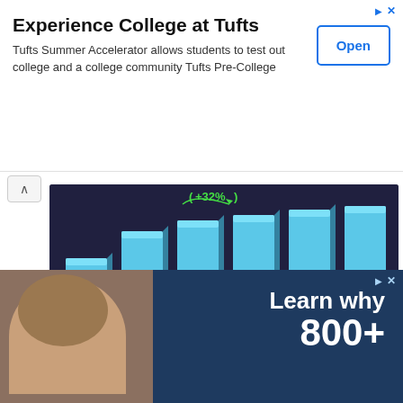[Figure (other): Advertisement banner: Experience College at Tufts. Tufts Summer Accelerator allows students to test out college and a college community Tufts Pre-College. Open button.]
[Figure (bar-chart): 3D bar chart on dark background showing salary increase by years of experience, with +32% annotation from < 2 Years to 2 to 5 Years bars. Disclaimer: Results may vary based on location, the type of job, and from one person to another.]
[Figure (other): Social sharing buttons: Share This Chart (green), Tweet (blue), Share/LinkedIn (blue), Save/Pinterest (red), Get Chart Link (dark).]
[Figure (other): Advertisement banner at bottom showing a smiling woman with earbuds and text 'Learn why 800+']